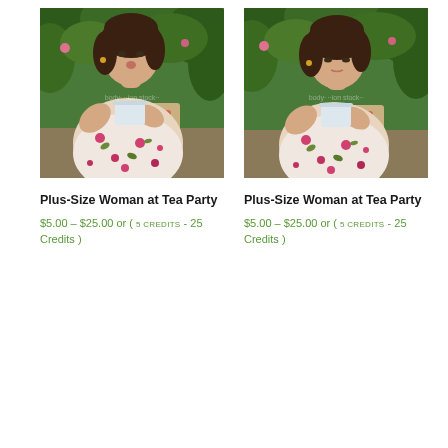[Figure (photo): Stock photo of a plus-size woman in a floral dress holding a cup at a tea party, outdoors with green foliage and pink flowers in background. Watermark visible.]
Plus-Size Woman at Tea Party
$5.00 – $25.00 or ( 5 CREDITS - 25 Credits )
[Figure (photo): Stock photo of a plus-size woman in a floral dress holding a cup at a tea party, outdoors with green foliage and pink flowers in background. Watermark visible. Slightly different pose from first image.]
Plus-Size Woman at Tea Party
$5.00 – $25.00 or ( 5 CREDITS - 25 Credits )